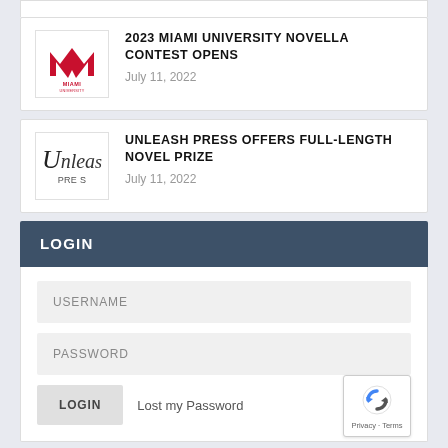[Figure (logo): Miami University logo (M mark with MIAMI UNIVERSITY text)]
2023 MIAMI UNIVERSITY NOVELLA CONTEST OPENS
July 11, 2022
[Figure (logo): Unleash Press logo (cursive text with PRES below)]
UNLEASH PRESS OFFERS FULL-LENGTH NOVEL PRIZE
July 11, 2022
LOGIN
USERNAME
PASSWORD
LOGIN
Lost my Password